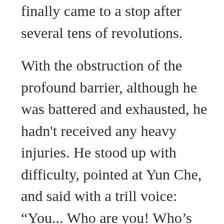finally came to a stop after several tens of revolutions.
With the obstruction of the profound barrier, although he was battered and exhausted, he hadn't received any heavy injuries. He stood up with difficulty, pointed at Yun Che, and said with a trill voice: “You... Who are you! Who’s your master!”
A nineteen year old at the sixth